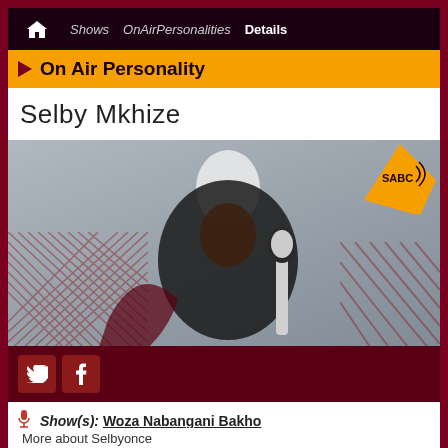Shows  OnAirPersonalities  Details
On Air Personality
Selby Mkhize
[Figure (photo): Photo of Selby Mkhize (Selbyonce) wearing a black cape and holding a large microphone stand, posing against a grey background with geometric red diagonal patterns and SABC logo in the top right corner. Twitter and Facebook social media icons appear in a dark red bar at the bottom of the image.]
Show(s): Woza Nabangani Bakho
More about Selbyonce